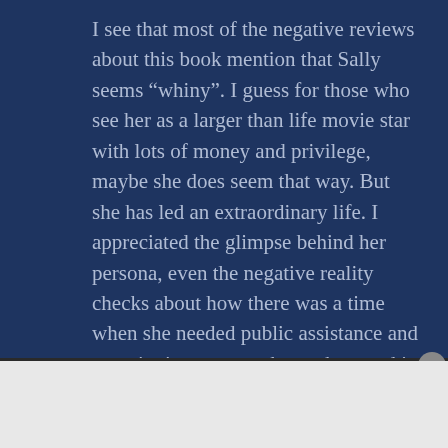I see that most of the negative reviews about this book mention that Sally seems “whiny”. I guess for those who see her as a larger than life movie star with lots of money and privilege, maybe she does seem that way. But she has led an extraordinary life. I appreciated the glimpse behind her persona, even the negative reality checks about how there was a time when she needed public assistance and was signing autographs as she stood in line to get financial aid. Acting
Advertisements
[Figure (other): Bloomingdale's advertisement banner with logo, 'View Today's Top Deals!' text, a woman wearing a large hat, and a 'SHOP NOW >' button]